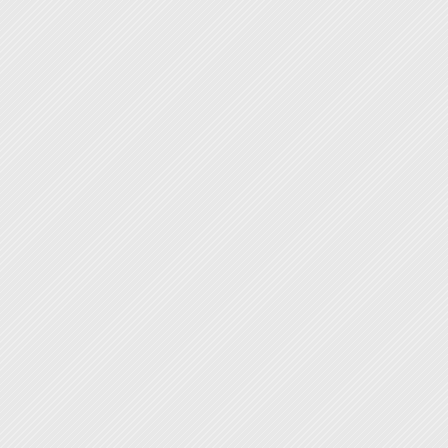[Figure (photo): Photo of a bowl with white powder/flour ingredient being mixed, viewed from above on a tan background]
have a large
[Figure (photo): Photo of a baking sheet tray with chicken wings arranged on it, viewed from above]
[Figure (photo): Photo of a baking sheet tray with chicken wings arranged on it, slightly different angle]
tops of the
season the
sprinkle of t
[Figure (photo): Photo of someone brushing or saucing chicken wings with a brush]
or 4-6 secti
each wing u